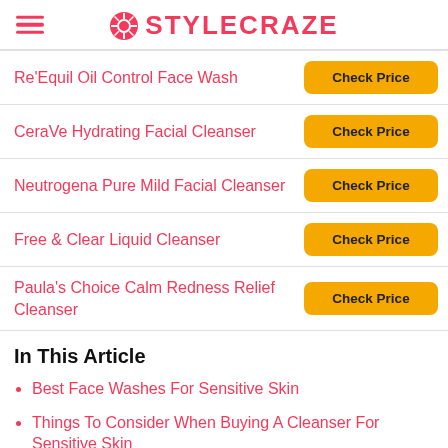STYLECRAZE
| Product | Link |
| --- | --- |
| Re'Equil Oil Control Face Wash | Check Price |
| CeraVe Hydrating Facial Cleanser | Check Price |
| Neutrogena Pure Mild Facial Cleanser | Check Price |
| Free & Clear Liquid Cleanser | Check Price |
| Paula's Choice Calm Redness Relief Cleanser | Check Price |
In This Article
Best Face Washes For Sensitive Skin
Things To Consider When Buying A Cleanser For Sensitive Skin